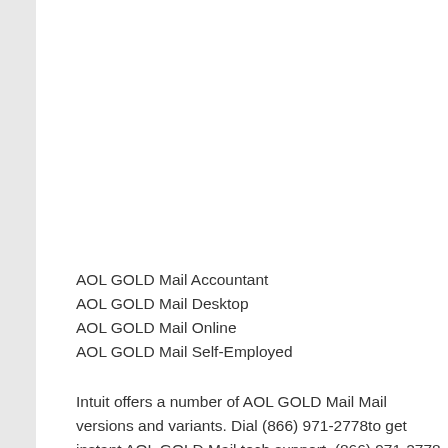AOL GOLD Mail Accountant
AOL GOLD Mail Desktop
AOL GOLD Mail Online
AOL GOLD Mail Self-Employed
Intuit offers a number of AOL GOLD Mail Mail versions and variants. Dial (866) 971-2778to get instant AOL GOLD Mail tech support. (866) 971-2778 is the easiest way to connect with QB ProAdvisors. Take a look at some of the most common AOL GOLD Mail Products and their